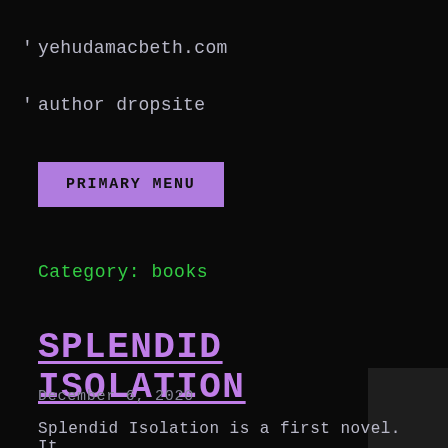yehudamacbeth.com
author dropsite
PRIMARY MENU
Category: books
SPLENDID ISOLATION
December 6, 2020
Splendid Isolation is a first novel. It